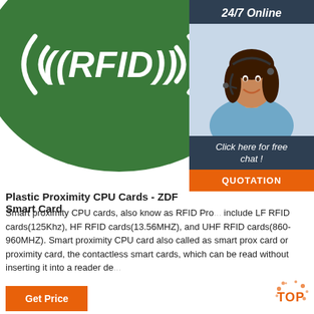[Figure (photo): Green RFID card/tag with white ((RFID)) text and signal symbols on a white background]
[Figure (photo): Sidebar panel with dark blue background showing '24/7 Online' header, photo of smiling woman with headset, 'Click here for free chat!' text, and orange QUOTATION button]
Plastic Proximity CPU Cards - ZDF Smart Card
Smart proximity CPU cards, also know as RFID Pro... include LF RFID cards(125Khz), HF RFID cards(13.56MHZ), and UHF RFID cards(860-960MHZ). Smart proximity CPU card also called as smart prox card or proximity card, the contactless smart cards, which can be read without inserting it into a reader de...
[Figure (other): Orange 'Get Price' button at bottom left]
[Figure (other): Orange TOP back-to-top icon at bottom right]